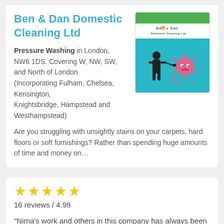Ben & Dan Domestic Cleaning Ltd
[Figure (logo): Ben & Dan Domestic Cleaning Ltd logo with green bar at top, company name text, and teal section showing cartoon illustration of cleaner fighting a virus/germ]
Pressure Washing in London, NW6 1DS. Covering W, NW, SW, and North of London (Incorporating Fulham, Chelsea, Kensington, Knightsbridge, Hampstead and Westhampstead)
Are you struggling with unsightly stains on your carpets, hard floors or soft furnishings? Rather than spending huge amounts of time and money on...
★★★★★
16 reviews / 4.99
"Nima's work and others in this company has always been impeccable. I also appreciate their rapid availability and support for our requests they..."